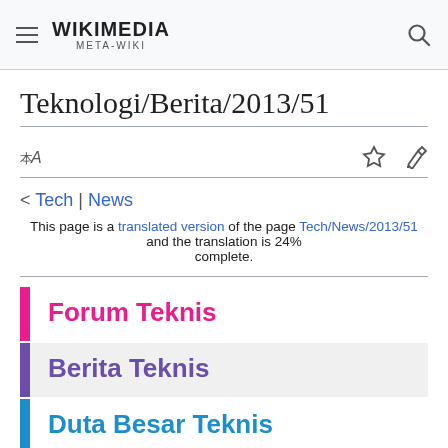WIKIMEDIA META-WIKI
Teknologi/Berita/2013/51
< Tech | News
This page is a translated version of the page Tech/News/2013/51 and the translation is 24% complete.
Forum Teknis
Berita Teknis
Duta Besar Teknis
Teknologi Wikimedia